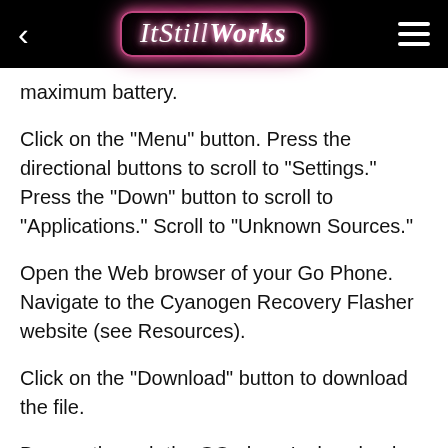ItStillWorks
maximum battery.
Click on the "Menu" button. Press the directional buttons to scroll to "Settings." Press the "Down" button to scroll to "Applications." Scroll to "Unknown Sources."
Open the Web browser of your Go Phone. Navigate to the Cyanogen Recovery Flasher website (see Resources).
Click on the "Download" button to download the file.
Browse through the GO phone's download folder to locate the downloaded file "Reckvry Recovery...